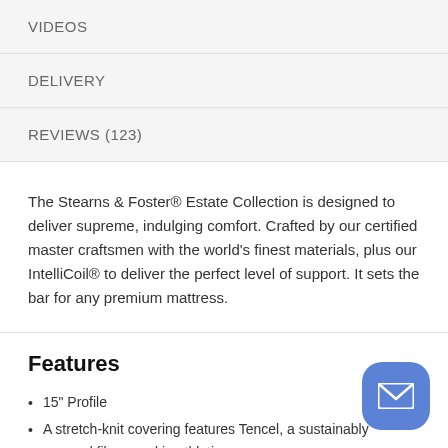VIDEOS
DELIVERY
REVIEWS (123)
The Stearns & Foster® Estate Collection is designed to deliver supreme, indulging comfort. Crafted by our certified master craftsmen with the world's finest materials, plus our IntelliCoil® to deliver the perfect level of support. It sets the bar for any premium mattress.
Features
15" Profile
A stretch-knit covering features Tencel, a sustainably sourced fiber used in athletic wear,